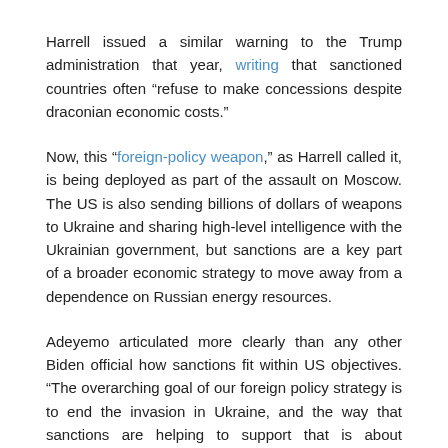Harrell issued a similar warning to the Trump administration that year, writing that sanctioned countries often “refuse to make concessions despite draconian economic costs.”
Now, this “foreign-policy weapon,” as Harrell called it, is being deployed as part of the assault on Moscow. The US is also sending billions of dollars of weapons to Ukraine and sharing high-level intelligence with the Ukrainian government, but sanctions are a key part of a broader economic strategy to move away from a dependence on Russian energy resources.
Adeyemo articulated more clearly than any other Biden official how sanctions fit within US objectives. “The overarching goal of our foreign policy strategy is to end the invasion in Ukraine, and the way that sanctions are helping to support that is about reducing the level of resources that Russia has to project power and by cutting off their military-industrialized complex,” he told me.